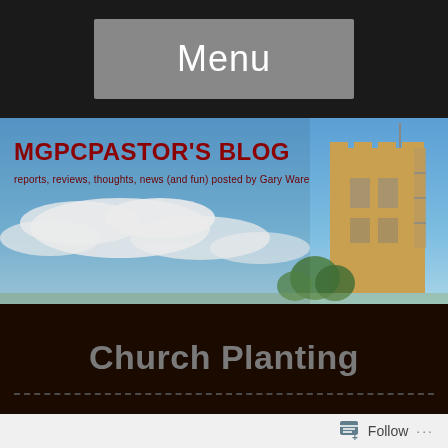Menu
MGPCPASTOR'S BLOG
reports, reviews, thoughts, news (and fun) posted by Gary Ware
[Figure (photo): Photograph of a stone church tower against a blue sky with scattered clouds, with trees visible at the base. Blog header image.]
Church Planting
Follow